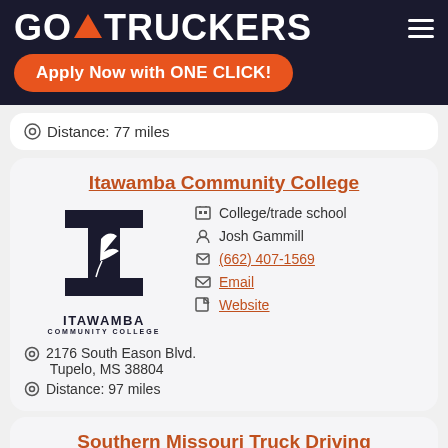GO TRUCKERS
Apply Now with ONE CLICK!
Distance: 77 miles
Itawamba Community College
[Figure (logo): Itawamba Community College logo with large block letter I and feather, with ITAWAMBA COMMUNITY COLLEGE text below]
College/trade school
Josh Gammill
(662) 407-1569
Email
Website
2176 South Eason Blvd. Tupelo, MS 38804
Distance: 97 miles
Southern Missouri Truck Driving